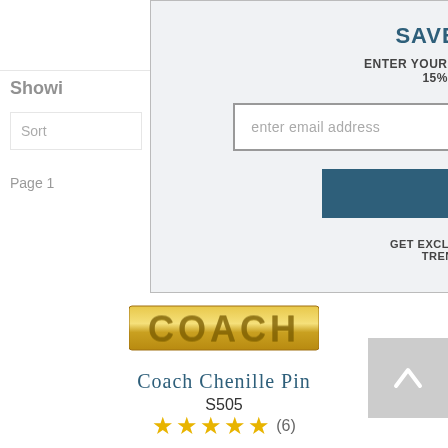Showi
Sort
Page 1
SAVE 15% RIGHT NOW!
ENTER YOUR EMAIL TO GET A DISCOUNT CODE FOR 15% OFF YOUR FIRST PURCHASE.
enter email address
SIGN UP NOW
GET EXCLUSIVE OFFERS, INFO ON OUR LATEST TRENDS, NEW ARRIVALS AND MORE!
[Figure (logo): COACH brand logo in gold metallic lettering]
Coach Chenille Pin
S505
(6) stars rating